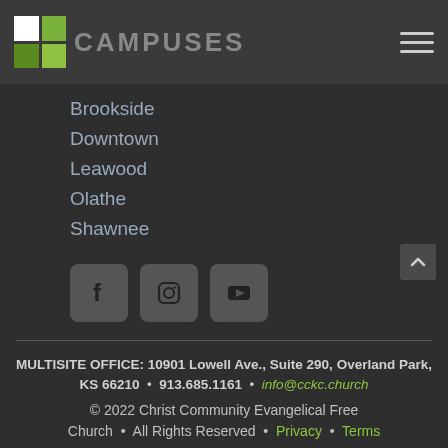CAMPUSES
Brookside
Downtown
Leawood
Olathe
Shawnee
[Figure (other): Social media icons: Facebook, Instagram, YouTube]
MULTISITE OFFICE: 10901 Lowell Ave., Suite 290, Overland Park, KS 66210 • 913.685.1161 • info@cckc.church
© 2022 Christ Community Evangelical Free Church • All Rights Reserved • Privacy • Terms